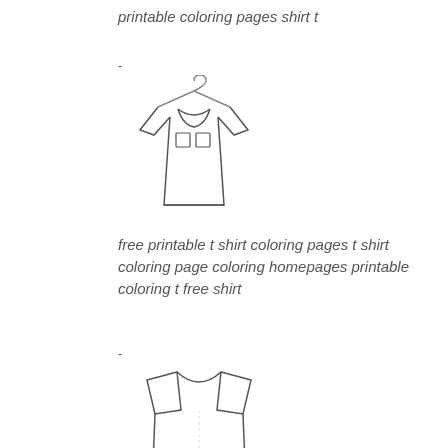printable coloring pages shirt t
-
[Figure (illustration): Line drawing of a polo shirt on a hanger with two chest pockets]
free printable t shirt coloring pages t shirt coloring page coloring homepages printable coloring t free shirt
-
[Figure (illustration): Line drawing of a plain t-shirt]
free printable t shirt coloring pages t shirt coloring page coloring homefree printable t coloring pages shirt
-